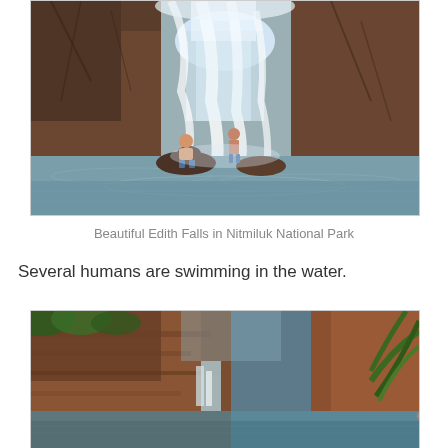[Figure (photo): Photograph of Edith Falls in Nitmiluk National Park, showing a waterfall cascading over dark rocky cliffs into a pool, with two people sitting at the base of the falls.]
Beautiful Edith Falls in Nitmiluk National Park
Several humans are swimming in the water.
[Figure (photo): Photograph of a rocky gorge with a small waterfall and a calm water pool, surrounded by tall reddish-brown rock walls and tropical palm fronds visible at the right edge.]